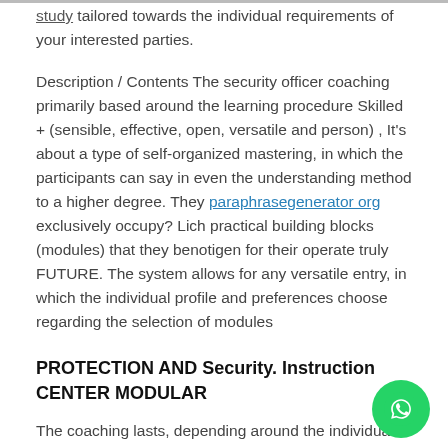study tailored towards the individual requirements of your interested parties.
Description / Contents The security officer coaching primarily based around the learning procedure Skilled + (sensible, effective, open, versatile and person) , It's about a type of self-organized mastering, in which the participants can say in even the understanding method to a higher degree. They paraphrasegenerator org exclusively occupy? Lich practical building blocks (modules) that they benotigen for their operate truly FUTURE. The system allows for any versatile entry, in which the individual profile and preferences choose regarding the selection of modules
PROTECTION AND Security. Instruction CENTER MODULAR
The coaching lasts, depending around the individual design as much as six months like an optional internship.